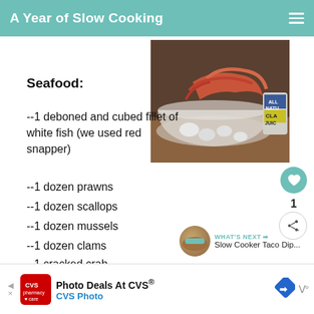A Year of Slow Cooking
[Figure (photo): A glass bowl filled with seafood including crab legs, scallops, and other shellfish, with a can of clam juice in the background on a wooden table.]
Seafood:
--1 deboned and cubed fillet of white fish (we used red snapper)
--1 dozen prawns
--1 dozen scallops
--1 dozen mussels
--1 dozen clams
--1 cracked crab
WHAT'S NEXT → Slow Cooker Taco Dip...
Photo Deals At CVS® CVS Photo